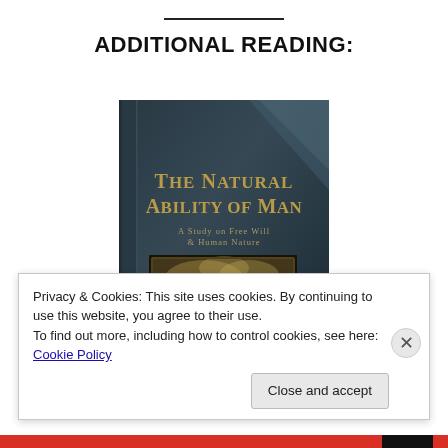ADDITIONAL READING:
[Figure (illustration): Book cover of 'The Natural Ability of Man: A Study on Free Will & Human Nature' — dark teal/gray cover with gold title text and an illustration of Moses-like figure holding stone tablets aloft over a crowd]
Privacy & Cookies: This site uses cookies. By continuing to use this website, you agree to their use.
To find out more, including how to control cookies, see here: Cookie Policy
Close and accept